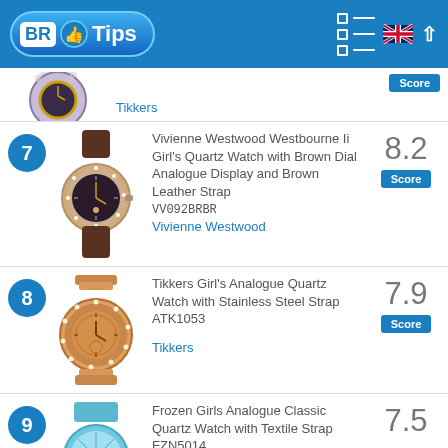[Figure (logo): BRTips logo with thumbs up icon on blue header bar]
Tikkers — Score
7 — Vivienne Westwood Westbourne Ii Girl's Quartz Watch with Brown Dial Analogue Display and Brown Leather Strap VV092BRBR — Vivienne Westwood — Score: 8.2
8 — Tikkers Girl's Analogue Quartz Watch with Stainless Steel Strap ATK1053 — Tikkers — Score: 7.9
9 — Frozen Girls Analogue Classic Quartz Watch with Textile Strap FZN5014 — Score: 7.5